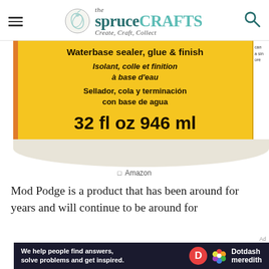the spruce CRAFTS — Create, Craft, Collect
[Figure (photo): Close-up of a Mod Podge bottle label showing: Waterbase sealer, glue & finish / Isolant, colle et finition à base d'eau / Sellador, cola y terminación con base de agua / 32 fl oz 946 ml]
Amazon
Mod Podge is a product that has been around for years and will continue to be around for